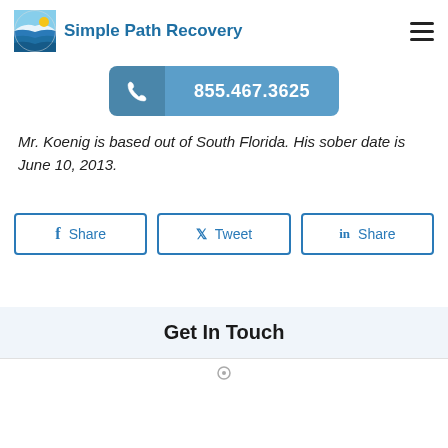Simple Path Recovery
855.467.3625
Mr. Koenig is based out of South Florida. His sober date is June 10, 2013.
Share
Tweet
Share
Get In Touch